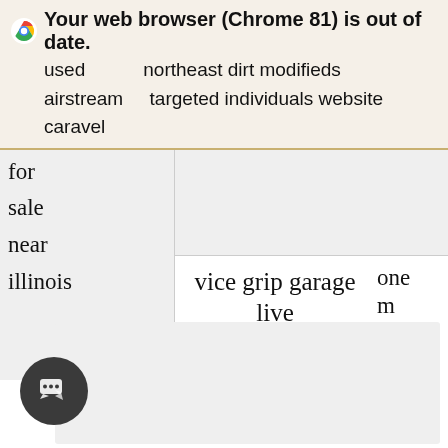Your web browser (Chrome 81) is out of date.
used
airstream
caravel
northeast dirt modifieds
targeted individuals website
for
sale
near
illinois
vice grip garage live
one m
teardrop camper for sale denver
red
[Figure (screenshot): Chat widget button with speech bubble icon at bottom left of page]
[Figure (screenshot): Light gray content panel at bottom of page]